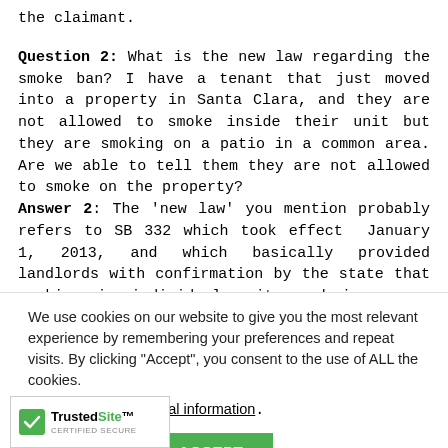the claimant.
Question 2: What is the new law regarding the smoke ban? I have a tenant that just moved into a property in Santa Clara, and they are not allowed to smoke inside their unit but they are smoking on a patio in a common area. Are we able to tell them they are not allowed to smoke on the property? Answer 2: The ‘new law’ you mention probably refers to SB 332 which took effect  January 1, 2013, and which basically provided landlords with confirmation by the state that smoking in individual units and in common areas can be
We use cookies on our website to give you the most relevant experience by remembering your preferences and repeat visits. By clicking “Accept”, you consent to the use of ALL the cookies.
Do not sell my personal information.
Cookie settings   ACCEPT